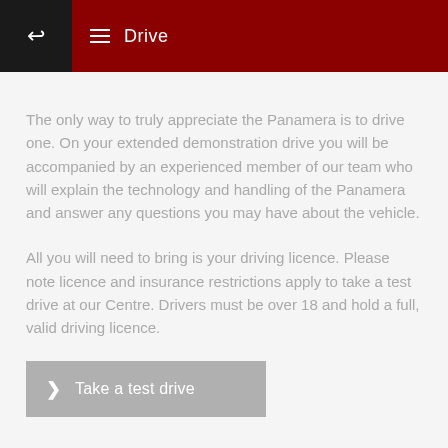Drive
The only way to truly appreciate the Panamera is to drive one. On your extended demonstration drive you will be accompanied by an experienced member of our team who will explain the technology and handling of the Panamera and answer any questions you may have about the vehicle.
All you will need to bring is your driving licence. Please note licence and insurance restrictions apply to take a test drive at our Centre. Drivers must be over 18 and hold a full, valid driving licence.
Take a test drive